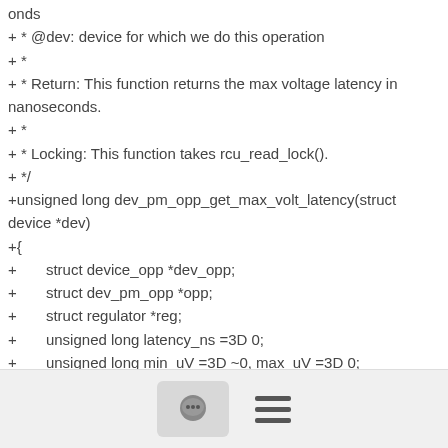onds
+ * @dev: device for which we do this operation
+ *
+ * Return: This function returns the max voltage latency in nanoseconds.
+ *
+ * Locking: This function takes rcu_read_lock().
+ */
+unsigned long dev_pm_opp_get_max_volt_latency(struct device *dev)
+{
+       struct device_opp *dev_opp;
+       struct dev_pm_opp *opp;
+       struct regulator *reg;
+       unsigned long latency_ns =3D 0;
+       unsigned long min_uV =3D ~0, max_uV =3D 0;
+       int ret;
+
+       rcu_read_lock();
+
[Figure (other): Footer bar with comment bubble icon button and hamburger menu icon]